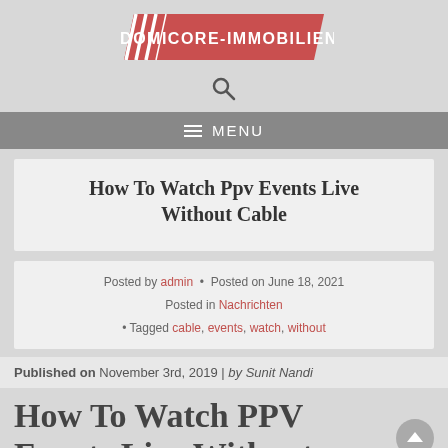DOMICORE-IMMOBILIEN
How To Watch Ppv Events Live Without Cable
Posted by admin • Posted on June 18, 2021 Posted in Nachrichten • Tagged cable, events, watch, without
Published on November 3rd, 2019 | by Sunit Nandi
How To Watch PPV Events Live Without